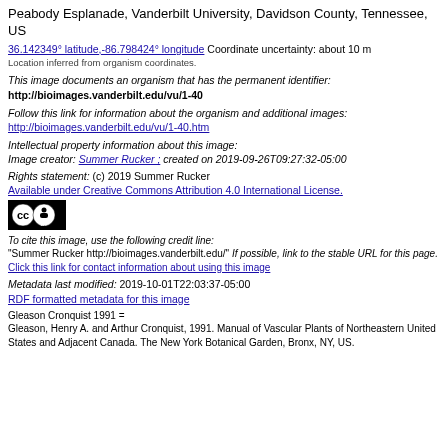Peabody Esplanade, Vanderbilt University, Davidson County, Tennessee, US
36.142349° latitude,-86.798424° longitude Coordinate uncertainty: about 10 m
Location inferred from organism coordinates.
This image documents an organism that has the permanent identifier: http://bioimages.vanderbilt.edu/vu/1-40
Follow this link for information about the organism and additional images: http://bioimages.vanderbilt.edu/vu/1-40.htm
Intellectual property information about this image: Image creator: Summer Rucker ; created on 2019-09-26T09:27:32-05:00
Rights statement: (c) 2019 Summer Rucker Available under Creative Commons Attribution 4.0 International License.
[Figure (logo): Creative Commons CC BY license badge]
To cite this image, use the following credit line: "Summer Rucker http://bioimages.vanderbilt.edu/" If possible, link to the stable URL for this page. Click this link for contact information about using this image
Metadata last modified: 2019-10-01T22:03:37-05:00 RDF formatted metadata for this image
Gleason Cronquist 1991 = Gleason, Henry A. and Arthur Cronquist, 1991. Manual of Vascular Plants of Northeastern United States and Adjacent Canada. The New York Botanical Garden, Bronx, NY, US.